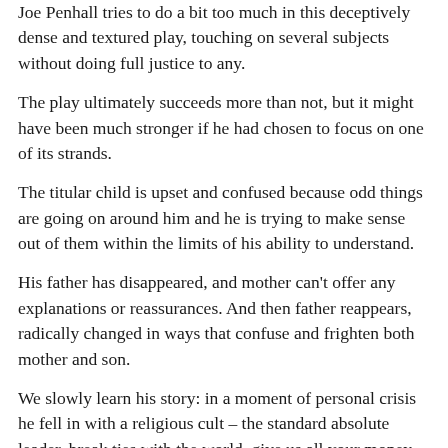Joe Penhall tries to do a bit too much in this deceptively dense and textured play, touching on several subjects without doing full justice to any.
The play ultimately succeeds more than not, but it might have been much stronger if he had chosen to focus on one of its strands.
The titular child is upset and confused because odd things are going on around him and he is trying to make sense out of them within the limits of his ability to understand.
His father has disappeared, and mother can't offer any explanations or reassurances. And then father reappears, radically changed in ways that confuse and frighten both mother and son.
We slowly learn his story: in a moment of personal crisis he fell in with a religious cult – the standard absolute leader, break ties with the world, give us all your money, spiritual and pseudo-scientific mumbo-jumbo sort.
Out on a brief furlough whose dark purpose will eventually be revealed, he resists his wife's attempts to reconnect and tries to lure her back with him.
The wife, in turn, vacillates between anger, delight in his return and even, in her confusion, the temptation to believe that he has